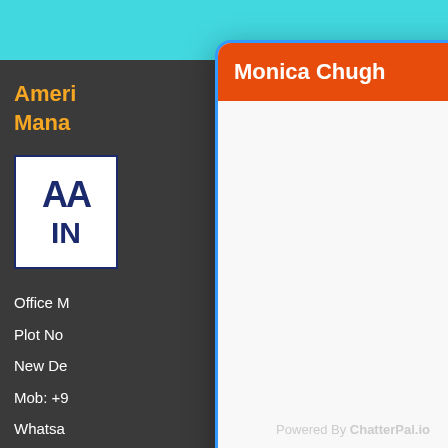Monica Chugh
American
Management
[Figure (logo): AA IN logo in blue and white]
Office N
Plot No
New De
Mob: +9
Whatsa
Land li
info@aafmindia.co.in
Powered By ChatterPal.io